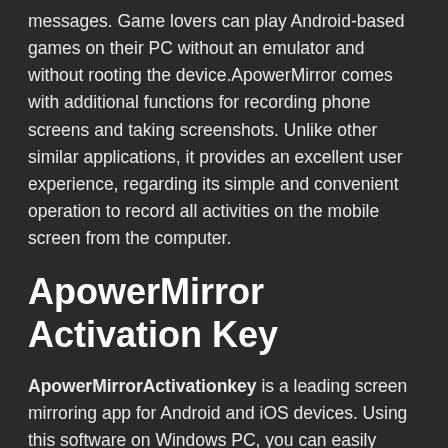messages. Game lovers can play Android-based games on their PC without an emulator and without rooting the device.ApowerMirror comes with additional functions for recording phone screens and taking screenshots. Unlike other similar applications, it provides an excellent user experience, regarding its simple and convenient operation to record all activities on the mobile screen from the computer.
ApowerMirror Activation Key
ApowerMirrorActivationkey is a leading screen mirroring app for Android and iOS devices. Using this software on Windows PC, you can easily mirror the phone screen to the computer. Downloading ApowerMirror is very useful in a wide variety of situations, including displaying media on a large screen, presenting a file to colleagues or team